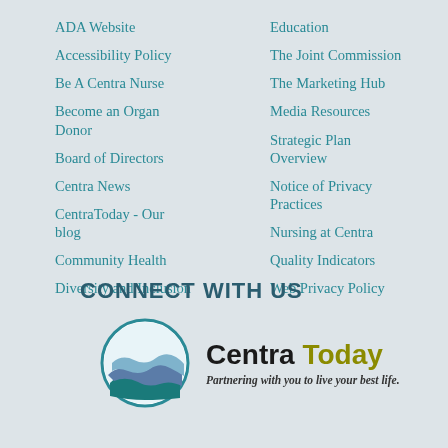ADA Website
Accessibility Policy
Be A Centra Nurse
Become an Organ Donor
Board of Directors
Centra News
CentraToday - Our blog
Community Health
Diversity and Inclusion
Education
The Joint Commission
The Marketing Hub
Media Resources
Strategic Plan Overview
Notice of Privacy Practices
Nursing at Centra
Quality Indicators
Web Privacy Policy
CONNECT WITH US
[Figure (logo): Centra Today logo with circular wave icon and tagline: Partnering with you to live your best life.]